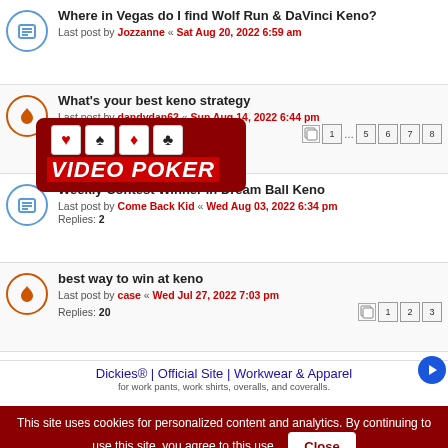Where in Vegas do I find Wolf Run & DaVinci Keno? Last post by Jozzanne « Sat Aug 20, 2022 6:59 am
What's your best keno strategy Last post by dandydan62 « Sun Aug 14, 2022 6:44 pm Replies: 75
Weekly Contest Winner in Dream Ball Keno Last post by Come Back Kid « Wed Aug 03, 2022 6:34 pm Replies: 2
best way to win at keno Last post by case « Wed Jul 27, 2022 7:03 pm Replies: 20
Four card keno gone?? Last post by TopCats1 « Sun Jul 24, 2022 4:26 am Replies: 5
Dickies® | Official Site | Workwear & Apparel — for work pants, work shirts, overalls, and coveralls.
This site uses cookies for personalized content and analytics. By continuing to use this site, you agree to this use. Close